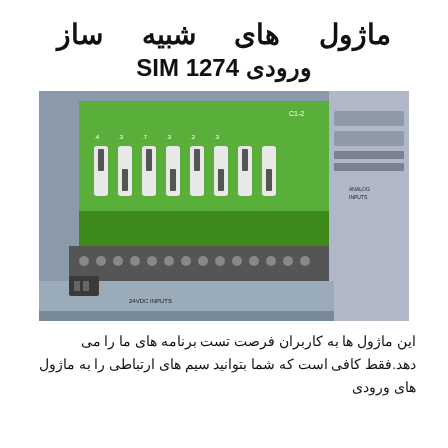ماژول های شبیه ساز ورودی SIM 1274
[Figure (photo): Close-up photo of a Siemens S7-1200 PLC input simulator module SIM 1274 with green PCB board showing toggle switches and wiring terminals, connected to a gray PLC module with 24VDC INPUTS and ANALOG INPUTS labels visible.]
این ماژول ها به کاربران فرصت تست برنامه های ما را می دهد.فقط کافی است که شما بتوانید سیم های ارتباطی را به ماژول های ورودی